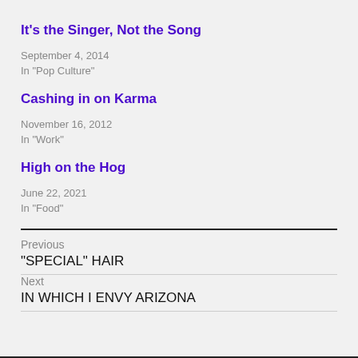It's the Singer, Not the Song
September 4, 2014
In "Pop Culture"
Cashing in on Karma
November 16, 2012
In "Work"
High on the Hog
June 22, 2021
In "Food"
Previous
“SPECIAL” HAIR
Next
IN WHICH I ENVY ARIZONA